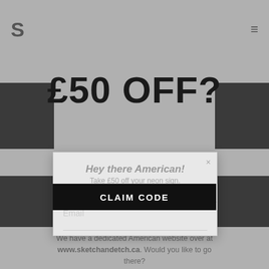£50 OFF?
Hey there American!
Take £50 off your neon sign.
Signup and we'll send you the discount code!
We have a dedicated American website over at www.sketchandetch.ca. Would you like to go there?
Email
YES
NO
CLAIM CODE